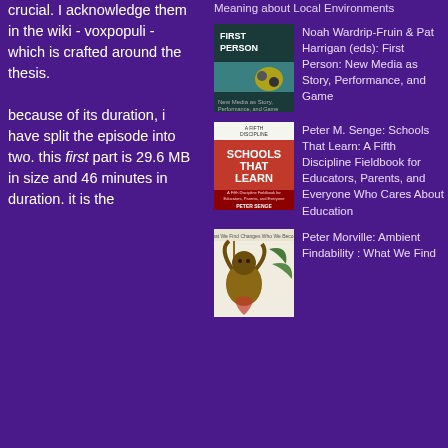crucial. I acknowledge them in the wiki - voxpopuli - which is crafted around the thesis.
because of its duration, i have split the episode into two. this first part is 29.6 MB in size and 46 minutes in duration. it is the
Meaning about Local Environments
[Figure (photo): Book cover of First Person: New Media as Story, Performance, and Game]
Noah Wardrip-Fruin & Pat Harrigan (eds): First Person: New Media as Story, Performance, and Game
[Figure (photo): Book cover of Schools That Learn: A Fifth Discipline Fieldbook for Educators, Parents, and Everyone Who Cares About Education by Peter M. Senge]
Peter M. Senge: Schools That Learn: A Fifth Discipline Fieldbook for Educators, Parents, and Everyone Who Cares About Education
[Figure (photo): Book cover of Ambient Findability: What We Find by Peter Morville]
Peter Morville: Ambient Findability : What We Find